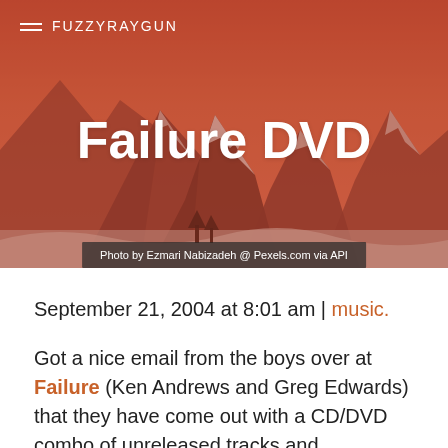FUZZYRAYGUN
Failure DVD
Photo by Ezmari Nabizadeh @ Pexels.com via API
September 21, 2004 at 8:01 am | music.
Got a nice email from the boys over at Failure (Ken Andrews and Greg Edwards) that they have come out with a CD/DVD combo of unreleased tracks and